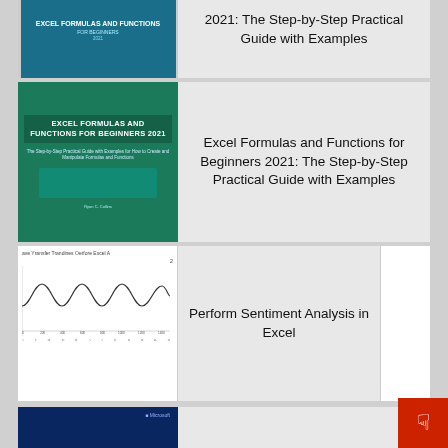[Figure (illustration): Book cover thumbnail for Excel Formulas and Functions / Step-by-Step guide (top partially clipped)]
2021: The Step-by-Step Practical Guide with Examples
[Figure (illustration): Book cover: Excel Formulas and Functions for Beginners 2021, green/teal background with circuit imagery]
Excel Formulas and Functions for Beginners 2021: The Step-by-Step Practical Guide with Examples
[Figure (illustration): Thumbnail showing a waveform/time series chart on white background with axis labels — related to sentiment analysis in Excel]
Perform Sentiment Analysis in Excel
[Figure (illustration): Book cover: Microsoft Excel 2019 Pivot Table Data Crunching, dark blue with city/data imagery]
[Free ebook]Microsoft Excel 2019 Pivot Table Data Crunching